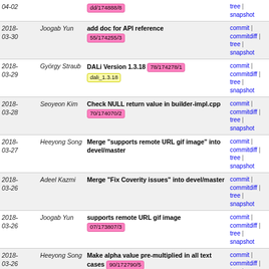| Date | Author | Message | Links |
| --- | --- | --- | --- |
| 2018-03-30 | Joogab Yun | add doc for API reference 55/174255/3 | commit | commitdiff | tree | snapshot |
| 2018-03-29 | György Straub | DALi Version 1.3.18 78/174278/1 dali_1.3.18 | commit | commitdiff | tree | snapshot |
| 2018-03-28 | Seoyeon Kim | Check NULL return value in builder-impl.cpp 70/174070/2 | commit | commitdiff | tree | snapshot |
| 2018-03-27 | Heeyong Song | Merge "supports remote URL gif image" into devel/master | commit | commitdiff | tree | snapshot |
| 2018-03-26 | Adeel Kazmi | Merge "Fix Coverity issues" into devel/master | commit | commitdiff | tree | snapshot |
| 2018-03-26 | Joogab Yun | supports remote URL gif image 07/173807/3 | commit | commitdiff | tree | snapshot |
| 2018-03-26 | Heeyong Song | Make alpha value pre-multiplied in all text cases 90/172790/5 | commit | commitdiff | tree | snapshot |
| 2018-03-26 | Heeyong Song | Merge "Change the fitting mode to FILL" into devel... | commit | commitdiff | tree | snapshot |
| 2018-03-26 | Seoyeon Kim | Fix Coverity issues 04/173404/5 | commit | commitdiff | tree | snapshot |
| 2018-03-23 | Umar | DALi Version 1.3.17 42/173742/1 dali_1.3.17 | commit | commitdiff | tree | snapshot |